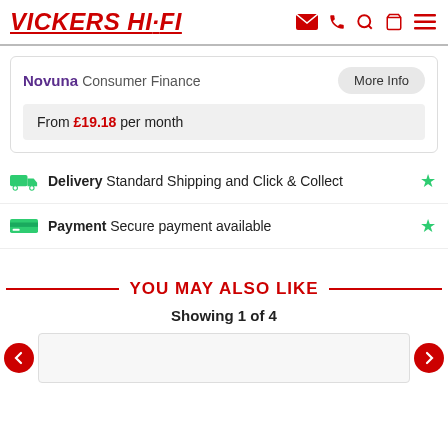VICKERS HI·FI
Novuna Consumer Finance
More Info
From £19.18 per month
Delivery Standard Shipping and Click & Collect
Payment Secure payment available
YOU MAY ALSO LIKE
Showing 1 of 4